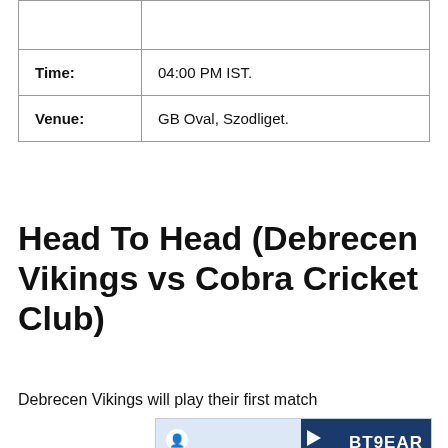|  |  |
| --- | --- |
|  |  |
| Time: | 04:00 PM IST. |
| Venue: | GB Oval, Szodliget. |
Head To Head (Debrecen Vikings vs Cobra Cricket Club)
Debrecen Vikings will play their first match
[Figure (screenshot): Advertisement banner with a person icon, blue background on right side, orange 'WATCH LIVE' button, and partial text 'S BT9EAR']